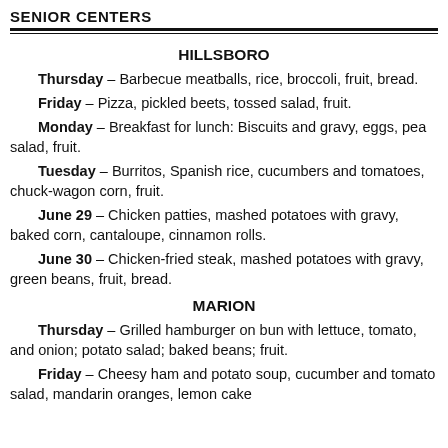SENIOR CENTERS
HILLSBORO
Thursday – Barbecue meatballs, rice, broccoli, fruit, bread.
Friday – Pizza, pickled beets, tossed salad, fruit.
Monday – Breakfast for lunch: Biscuits and gravy, eggs, pea salad, fruit.
Tuesday – Burritos, Spanish rice, cucumbers and tomatoes, chuck-wagon corn, fruit.
June 29 – Chicken patties, mashed potatoes with gravy, baked corn, cantaloupe, cinnamon rolls.
June 30 – Chicken-fried steak, mashed potatoes with gravy, green beans, fruit, bread.
MARION
Thursday – Grilled hamburger on bun with lettuce, tomato, and onion; potato salad; baked beans; fruit.
Friday – Cheesy ham and potato soup, cucumber and tomato salad, mandarin oranges, lemon cake